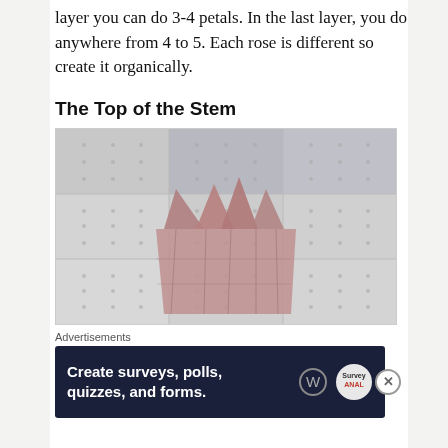layer you can do 3-4 petals. In the last layer, you do anywhere from 4 to 5. Each rose is different so create it organically.
The Top of the Stem
[Figure (photo): A pink/mauve crinkled fabric or paper cut into a crown-like shape with pointed tips, placed on a white dotted grid cutting mat.]
Advertisements
[Figure (screenshot): Advertisement banner: dark navy background with white bold text 'Create surveys, polls, quizzes, and forms.' with WordPress and SurveyANAL logos on the right.]